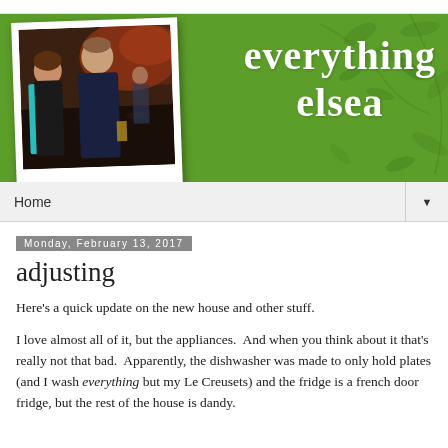[Figure (photo): Blog header banner with green background showing decorative leaf patterns, a framed photo of a couple (woman and man) at what appears to be an indoor event with warm lighting, and the blog title 'everything elsea' in white serif text on the right side]
Home
Monday, February 13, 2017
adjusting
Here's a quick update on the new house and other stuff.
I love almost all of it, but the appliances.  And when you think about it that's really not that bad.  Apparently, the dishwasher was made to only hold plates (and I wash everything but my Le Creusets) and the fridge is a french door fridge, but the rest of the house is dandy.